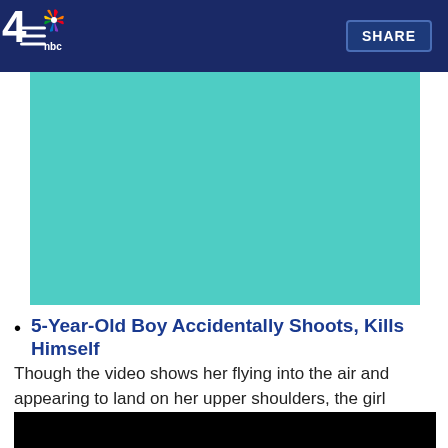NBC 4 — SHARE
[Figure (screenshot): Teal/turquoise video placeholder rectangle]
5-Year-Old Boy Accidentally Shoots, Kills Himself
Though the video shows her flying into the air and appearing to land on her upper shoulders, the girl suffered leg injuries and has been released from the hospital.
[Figure (screenshot): Black video placeholder rectangle at bottom of page]